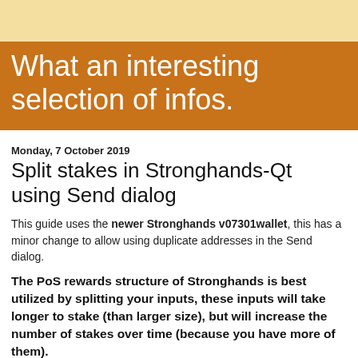What an interesting selection of infos.
Monday, 7 October 2019
Split stakes in Stronghands-Qt using Send dialog
This guide uses the newer Stronghands v07301wallet, this has a minor change to allow using duplicate addresses in the Send dialog.
The PoS rewards structure of Stronghands is best utilized by splitting your inputs, these inputs will take longer to stake (than larger size), but will increase the number of stakes over time (because you have more of them).
a rough example